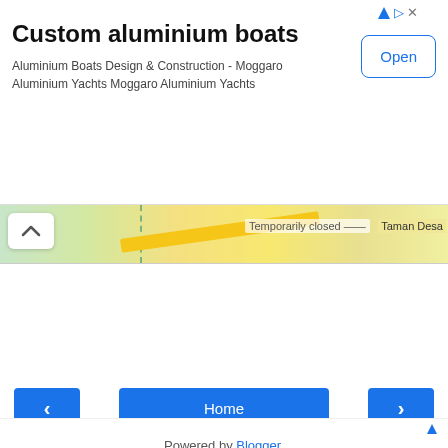[Figure (screenshot): Advertisement banner for Custom aluminium boats - Moggaro Aluminium Yachts with Open button]
[Figure (map): Google Maps strip showing 'Temporarily closed' and 'Taman Desa' labels with a chevron/collapse button]
Jia Shin Lee at January 16, 2019
[Figure (screenshot): Share button]
[Figure (screenshot): Navigation row with left arrow, Home button, right arrow]
View web version
Powered by Blogger.
[Figure (screenshot): Bottom advertisement strip with ad icon and partial photo of hands]